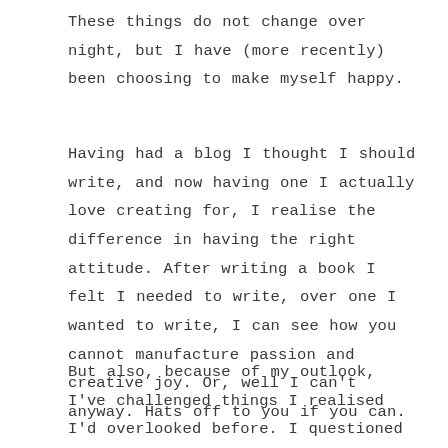These things do not change over night, but I have (more recently) been choosing to make myself happy.
Having had a blog I thought I should write, and now having one I actually love creating for, I realise the difference in having the right attitude. After writing a book I felt I needed to write, over one I wanted to write, I can see how you cannot manufacture passion and creative joy. Or, well I can't anyway. Hats off to you if you can.
But also, because of my outlook, I've challenged things I realised I'd overlooked before. I questioned things about my life I'd have otherwise left, pushing myself to edges I